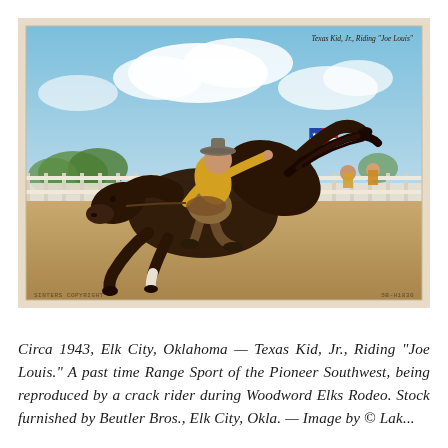[Figure (photo): Vintage colorized postcard circa 1943 showing Texas Kid, Jr. riding a bucking dark brown horse named 'Joe Louis' at a rodeo in Elk City, Oklahoma. The rider is wearing a yellow shirt and chaps, leaning back on the bucking horse with one arm extended. An American flag is visible in the background along with a white fence and spectators. Text in upper right reads 'Texas Kid, Jr., Riding "Joe Louis"'. Lower left reads 'SINTERS COPYRIGHT' and lower right reads '5B-H1830'.]
Circa 1943, Elk City, Oklahoma — Texas Kid, Jr., Riding "Joe Louis." A past time Range Sport of the Pioneer Southwest, being reproduced by a crack rider during Woodword Elks Rodeo. Stock furnished by Beutler Bros., Elk City, Okla. — Image by © Lak...